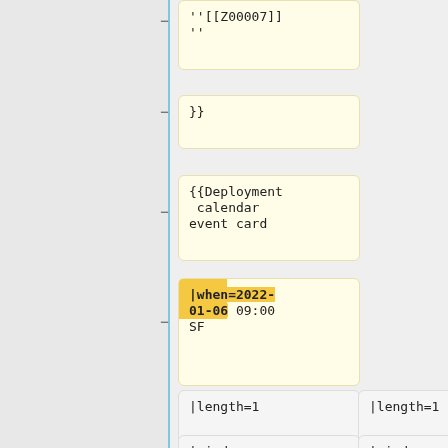[Figure (screenshot): Diff view of wiki-like template code showing yellow highlighted boxes with minus signs on the left side for deleted lines, and gray boxes on the right for unchanged/added content. Content includes template syntax fragments: }}  (closing braces), {{Deployment calendar event card, |when=2022-01-06 09:00 SF, |length=1, and |window=[[Puppet request window]]<br/><small>'''(M. Two columns of gray boxes visible at bottom.]
''[[Z00007]]
''
}}
{{Deployment calendar event card
|when=2022-01-06 09:00 SF
|length=1
|length=1
|window=[[Puppet request window]]<br/><small>'''(M
|window=[[Puppet request window]]<br/><small>'''(M